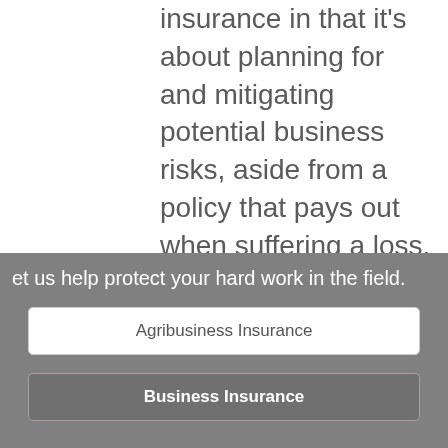insurance in that it's about planning for and mitigating potential business risks, aside from a policy that pays out when suffering a loss. The two work hand-in-hand together, but it's important to understand that risk management is all about planning and strategizing for the long-term of your business.
[Figure (other): A tan/beige 'Get Started' call-to-action button]
[Figure (other): A circular close (X) button overlay in light gray]
et us help protect your hard work in the field.
[Figure (other): White button labeled 'Agribusiness Insurance']
[Figure (other): Dark gray button labeled 'Business Insurance']